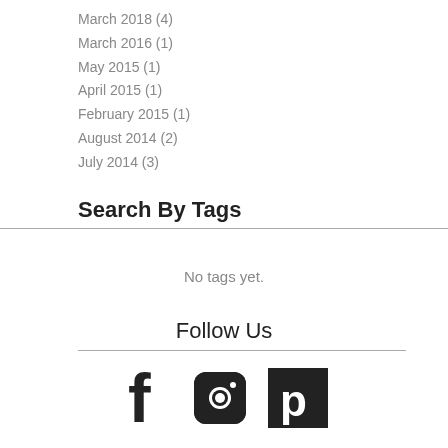March 2018 (4)
March 2016 (1)
May 2015 (1)
April 2015 (1)
February 2015 (1)
August 2014 (2)
July 2014 (3)
Search By Tags
No tags yet.
Follow Us
[Figure (illustration): Three social media icons: Facebook (f), Instagram (camera), Pinterest (P in black square)]